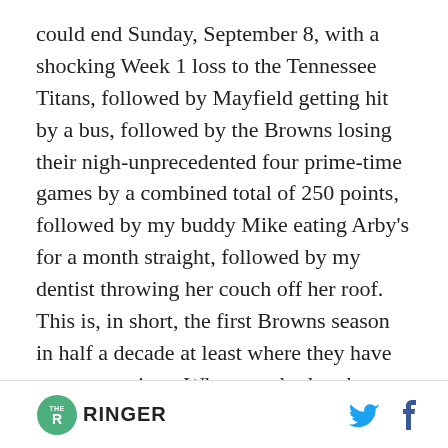could end Sunday, September 8, with a shocking Week 1 loss to the Tennessee Titans, followed by Mayfield getting hit by a bus, followed by the Browns losing their nigh-unprecedented four prime-time games by a combined total of 250 points, followed by my buddy Mike eating Arby's for a month straight, followed by my dentist throwing her couch off her roof. This is, in short, the first Browns season in half a decade at least where they have … expectations. Where anybody other than the Dawg Pound denizens guzzling whiskey out of chocolate-syrup bottles is paying
[Figure (logo): The Ringer logo — circular green icon with THE RINGER text]